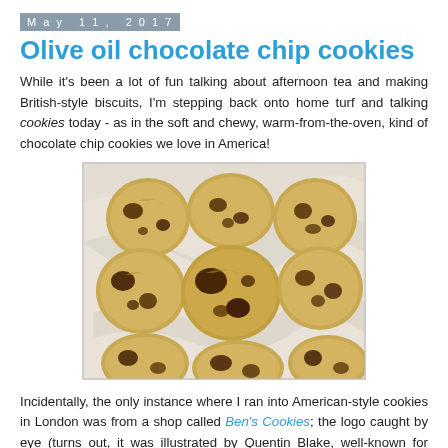May 11, 2017
Olive oil chocolate chip cookies
While it's been a lot of fun talking about afternoon tea and making British-style biscuits, I'm stepping back onto home turf and talking cookies today - as in the soft and chewy, warm-from-the-oven, kind of chocolate chip cookies we love in America!
[Figure (photo): Overhead photo of multiple chocolate chip cookies arranged on a light marble surface]
Incidentally, the only instance where I ran into American-style cookies in London was from a shop called Ben's Cookies; the logo caught by eye (turns out, it was illustrated by Quentin Blake, well-known for illustrating Roald Dahl's